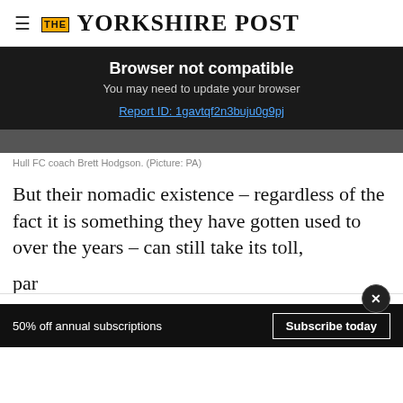THE YORKSHIRE POST
Browser not compatible
You may need to update your browser
Report ID: 1gavtqf2n3buju0g9pj
[Figure (photo): Photo of Hull FC coach Brett Hodgson, partially visible at top]
Hull FC coach Brett Hodgson. (Picture: PA)
But their nomadic existence – regardless of the fact it is something they have gotten used to over the years – can still take its toll,
pa... Wo...
[Figure (infographic): Advertisement overlay showing In-store shopping, Curbside pickup, Delivery options with a blue diamond navigation icon]
50% off annual subscriptions  Subscribe today